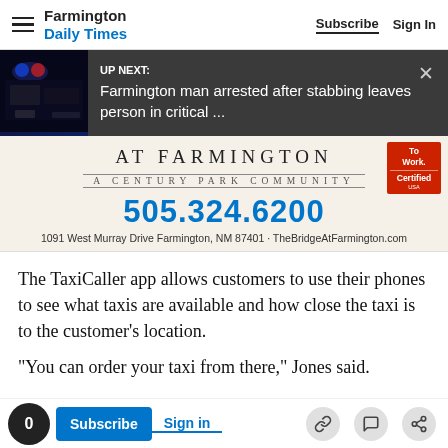Farmington Daily Times — Subscribe | Sign In
[Figure (screenshot): UP NEXT banner with police car image and headline: Farmington man arrested after stabbing leaves person in critical ...]
[Figure (other): Advertisement for The Bridge At Farmington, A Century Park Community. Phone: 505.324.6200. Address: 1091 West Murray Drive Farmington, NM 87401 · TheBridgeAtFarmington.com. Certified badge in upper right.]
The TaxiCaller app allows customers to use their phones to see what taxis are available and how close the taxi is to the customer's location.
"You can order your taxi from there," Jones said.
0 | Subscribe | Sign in | [link icon] [comment icon] [share icon]